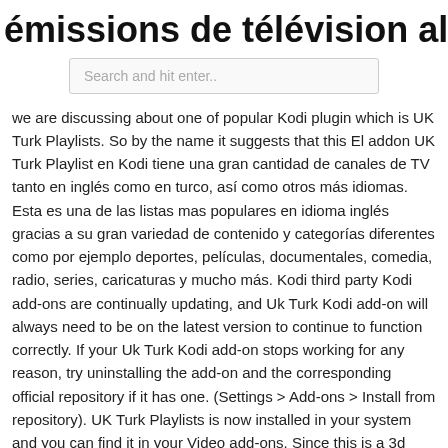émissions de télévision allemandes
Search and hit enter..
we are discussing about one of popular Kodi plugin which is UK Turk Playlists. So by the name it suggests that this El addon UK Turk Playlist en Kodi tiene una gran cantidad de canales de TV tanto en inglés como en turco, así como otros más idiomas. Esta es una de las listas mas populares en idioma inglés gracias a su gran variedad de contenido y categorías diferentes como por ejemplo deportes, películas, documentales, comedia, radio, series, caricaturas y mucho más. Kodi third party Kodi add-ons are continually updating, and Uk Turk Kodi add-on will always need to be on the latest version to continue to function correctly. If your Uk Turk Kodi add-on stops working for any reason, try uninstalling the add-on and the corresponding official repository if it has one. (Settings > Add-ons > Install from repository). UK Turk Playlists is now installed in your system and you can find it in your Video add-ons. Since this is a 3d party add-on it is not supported by the official Kodi developers, Site or Forums. For information and support about the add-on you can follow